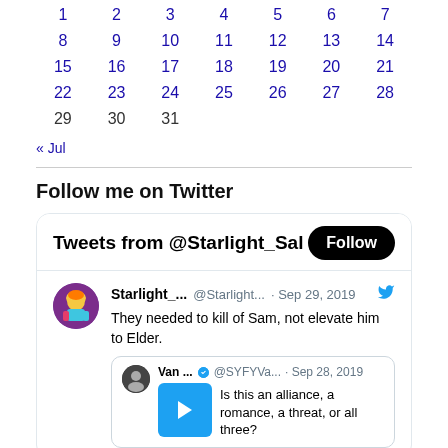|  |  |  |  |  |  |  |
| --- | --- | --- | --- | --- | --- | --- |
| 1 | 2 | 3 | 4 | 5 | 6 | 7 |
| 8 | 9 | 10 | 11 | 12 | 13 | 14 |
| 15 | 16 | 17 | 18 | 19 | 20 | 21 |
| 22 | 23 | 24 | 25 | 26 | 27 | 28 |
| 29 | 30 | 31 |  |  |  |  |
« Jul
Follow me on Twitter
[Figure (screenshot): Twitter widget showing Tweets from @Starlight_Sal with a Follow button. A tweet from Starlight_ (@Starlight... · Sep 29, 2019) reads 'They needed to kill of Sam, not elevate him to Elder.' with a quoted tweet from Van ... (@SYFYVa... · Sep 28, 2019) asking 'Is this an alliance, a romance, a threat, or all three?' with a video thumbnail.]